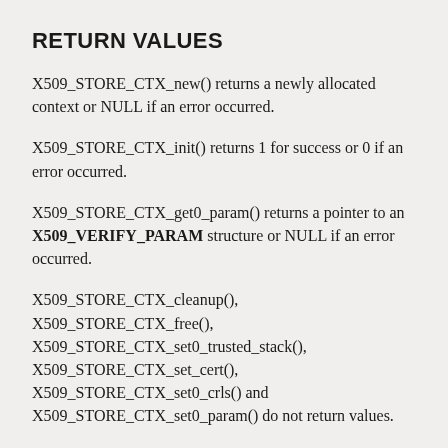RETURN VALUES
X509_STORE_CTX_new() returns a newly allocated context or NULL if an error occurred.
X509_STORE_CTX_init() returns 1 for success or 0 if an error occurred.
X509_STORE_CTX_get0_param() returns a pointer to an X509_VERIFY_PARAM structure or NULL if an error occurred.
X509_STORE_CTX_cleanup(), X509_STORE_CTX_free(), X509_STORE_CTX_set0_trusted_stack(), X509_STORE_CTX_set_cert(), X509_STORE_CTX_set0_crls() and X509_STORE_CTX_set0_param() do not return values.
X509_STORE_CTX...